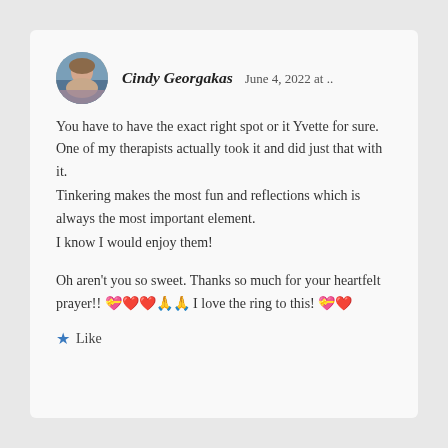Cindy Georgakas   June 4, 2022 at ..
You have to have the exact right spot or it Yvette for sure. One of my therapists actually took it and did just that with it.
Tinkering makes the most fun and reflections which is always the most important element.
I know I would enjoy them!

Oh aren't you so sweet. Thanks so much for your heartfelt prayer!! 💝❤️❤️🙏🙏 I love the ring to this! 💝❤️
★ Like